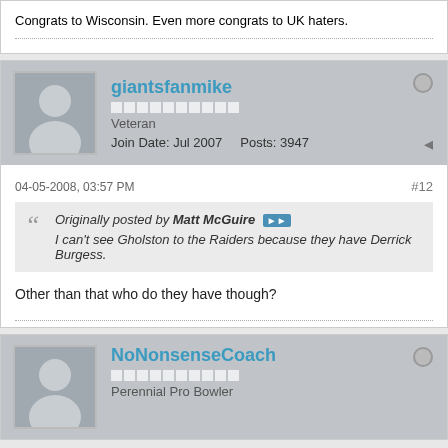Congrats to Wisconsin. Even more congrats to UK haters.
giantsfanmike
Veteran
Join Date: Jul 2007    Posts: 3947
04-05-2008, 03:57 PM
#12
Originally posted by Matt McGuire
I can't see Gholston to the Raiders because they have Derrick Burgess.
Other than that who do they have though?
NoNonsenseCoach
Perennial Pro Bowler